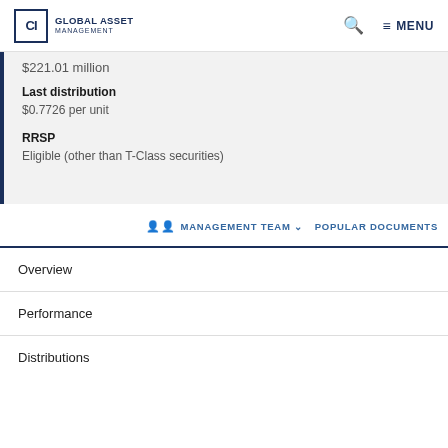CI Global Asset Management
$221.01 million
Last distribution
$0.7726 per unit
RRSP
Eligible (other than T-Class securities)
MANAGEMENT TEAM   POPULAR DOCUMENTS
Overview
Performance
Distributions